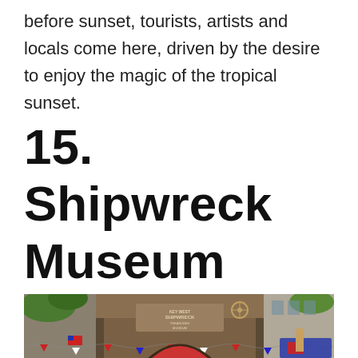before sunset, tourists, artists and locals come here, driven by the desire to enjoy the magic of the tropical sunset.
15. Shipwreck Museum
[Figure (photo): Exterior photograph of the Key West Shipwreck Treasures Museum, a rustic wooden multi-story building with a large sign reading 'KEY WEST SHIPWRECK TREASURES MUSEUM', decorated with colorful bunting flags and surrounded by trees.]